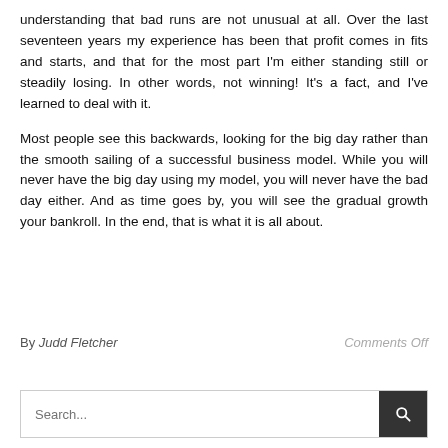understanding that bad runs are not unusual at all. Over the last seventeen years my experience has been that profit comes in fits and starts, and that for the most part I'm either standing still or steadily losing. In other words, not winning! It's a fact, and I've learned to deal with it.
Most people see this backwards, looking for the big day rather than the smooth sailing of a successful business model. While you will never have the big day using my model, you will never have the bad day either. And as time goes by, you will see the gradual growth your bankroll. In the end, that is what it is all about.
By Judd Fletcher    Comments Off